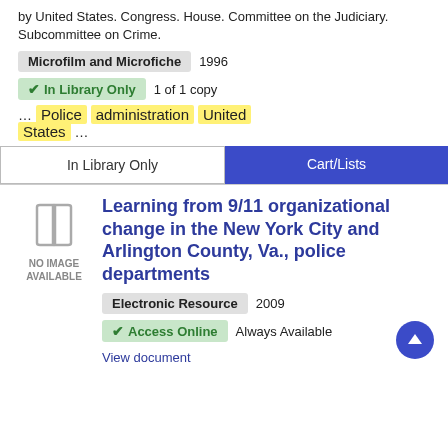by United States. Congress. House. Committee on the Judiciary. Subcommittee on Crime.
Microfilm and Microfiche  1996
✔ In Library Only  1 of 1 copy
… Police administration United States …
In Library Only
Cart/Lists
[Figure (illustration): Book placeholder icon with NO IMAGE AVAILABLE text]
Learning from 9/11 organizational change in the New York City and Arlington County, Va., police departments
Electronic Resource  2009
✔ Access Online  Always Available
View document